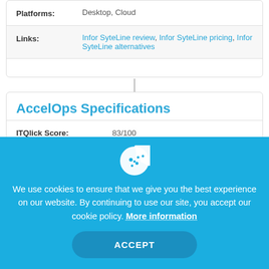| Field | Value |
| --- | --- |
| Platforms: | Desktop, Cloud |
| Links: | Infor SyteLine review, Infor SyteLine pricing, Infor SyteLine alternatives |
AccelOps Specifications
| Field | Value |
| --- | --- |
| ITQlick Score: | 83/100 |
| ITQlick Rating: | ★★★★★ (4.5/5) |
We use cookies to ensure that we give you the best experience on our website. By continuing to use our site, you accept our cookie policy. More information
ACCEPT